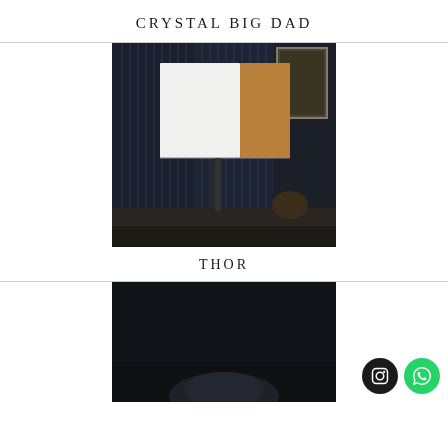CRYSTAL BIG DAD
[Figure (photo): A large square lamp shade with white front and brown/tan side panel on a dark console table against a dark paneled wall with vertical ribbed details and a framed artwork in background]
THOR
[Figure (photo): Partial view of a dark interior with a rounded object visible at the bottom of the frame, very dark atmospheric lighting]